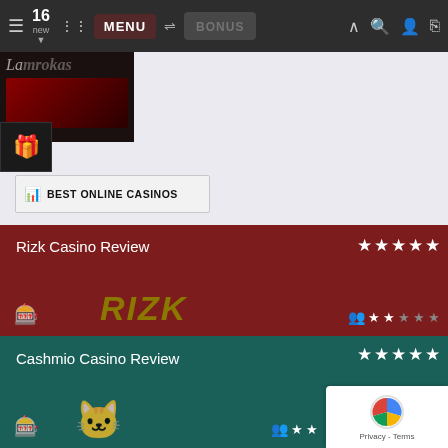[Figure (screenshot): Mobile website navigation bar with hamburger menu, notification badge showing 16 new, menu button, bonus button, and icons for search, account, login]
[Figure (screenshot): Labrokas website logo and cover image area with gift icon]
♥ 6  👁 1585
BEST ONLINE CASINOS
Rizk Casino Review — 5 stars
Cashmio Casino Review — 5 stars